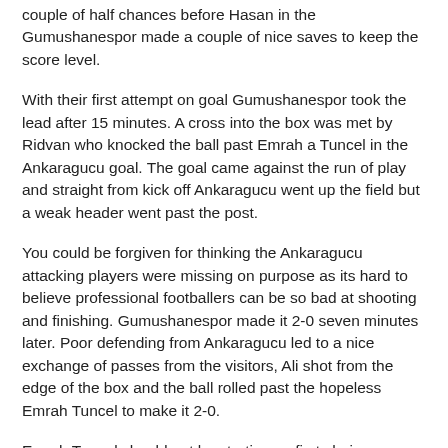couple of half chances before Hasan in the Gumushanespor made a couple of nice saves to keep the score level.
With their first attempt on goal Gumushanespor took the lead after 15 minutes. A cross into the box was met by Ridvan who knocked the ball past Emrah a Tuncel in the Ankaragucu goal. The goal came against the run of play and straight from kick off Ankaragucu went up the field but a weak header went past the post.
You could be forgiven for thinking the Ankaragucu attacking players were missing on purpose as its hard to believe professional footballers can be so bad at shooting and finishing. Gumushanespor made it 2-0 seven minutes later. Poor defending from Ankaragucu led to a nice exchange of passes from the visitors, Ali shot from the edge of the box and the ball rolled past the hopeless Emrah Tuncel to make it 2-0.
Emrah Tuncel should not be starting as first choice goalkeeper, in fact he shouldn't even be here at all, he is utterly hopeless and was lucky not to give away a penalty to